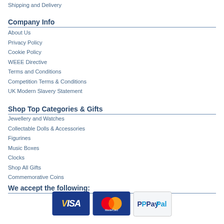Shipping and Delivery
Company Info
About Us
Privacy Policy
Cookie Policy
WEEE Directive
Terms and Conditions
Competition Terms & Conditions
UK Modern Slavery Statement
Shop Top Categories & Gifts
Jewellery and Watches
Collectable Dolls & Accessories
Figurines
Music Boxes
Clocks
Shop All Gifts
Commemorative Coins
We accept the following:
[Figure (infographic): Payment method logos: Visa, MasterCard, PayPal]